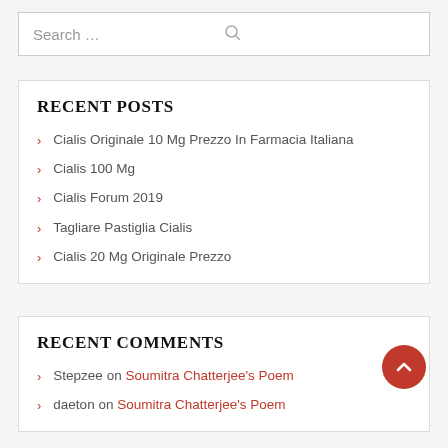Search …
RECENT POSTS
› Cialis Originale 10 Mg Prezzo In Farmacia Italiana
› Cialis 100 Mg
› Cialis Forum 2019
› Tagliare Pastiglia Cialis
› Cialis 20 Mg Originale Prezzo
RECENT COMMENTS
› Stepzee on Soumitra Chatterjee's Poem
› daeton on Soumitra Chatterjee's Poem